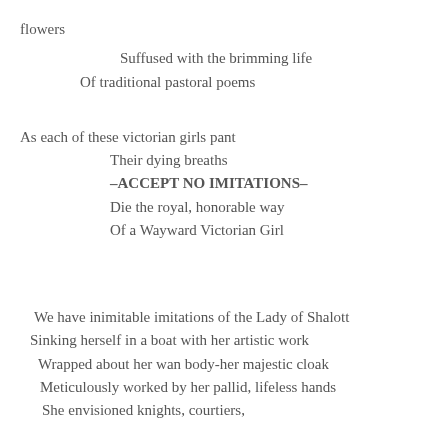flowers
    Suffused with the brimming life
  Of traditional pastoral poems

As each of these victorian girls pant
      Their dying breaths
      –ACCEPT NO IMITATIONS–
      Die the royal, honorable way
      Of a Wayward Victorian Girl


 We have inimitable imitations of the Lady of Shalott
 Sinking herself in a boat with her artistic work
  Wrapped about her wan body-her majestic cloak
  Meticulously worked by her pallid, lifeless hands
  She envisioned knights, courtiers,